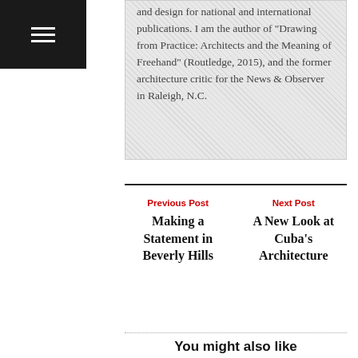and design for national and international publications. I am the author of "Drawing from Practice: Architects and the Meaning of Freehand" (Routledge, 2015), and the former architecture critic for the News & Observer in Raleigh, N.C.
Previous Post
Making a Statement in Beverly Hills
Next Post
A New Look at Cuba's Architecture
You might also like